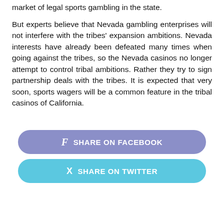market of legal sports gambling in the state.
But experts believe that Nevada gambling enterprises will not interfere with the tribes' expansion ambitions. Nevada interests have already been defeated many times when going against the tribes, so the Nevada casinos no longer attempt to control tribal ambitions. Rather they try to sign partnership deals with the tribes. It is expected that very soon, sports wagers will be a common feature in the tribal casinos of California.
[Figure (other): Share on Facebook button (purple/blue rounded rectangle) and Share on Twitter button (cyan rounded rectangle)]